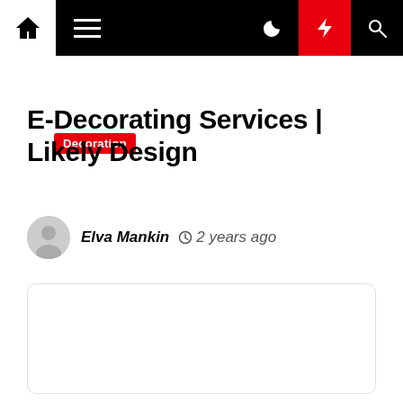Navigation bar with home, menu, moon, lightning, and search icons
Decoration
E-Decorating Services | Likely Design
Elva Mankin  2 years ago
[Figure (other): Empty white content card with rounded border]